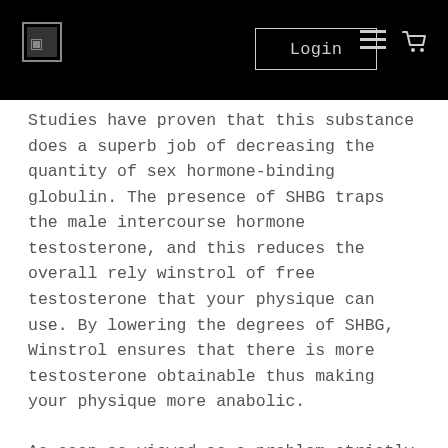Login
Studies have proven that this substance does a superb job of decreasing the quantity of sex hormone-binding globulin. The presence of SHBG traps the male intercourse hormone testosterone, and this reduces the overall rely winstrol of free testosterone that your physique can use. By lowering the degrees of SHBG, Winstrol ensures that there is more testosterone obtainable thus making your physique more anabolic.
As soon as viewed as a problem strictly related to physique builders, fitness “buffs,” and professional athletes, the abuse of steroids is prevalent in in the present day’s society. That is an alarming problem due to increased